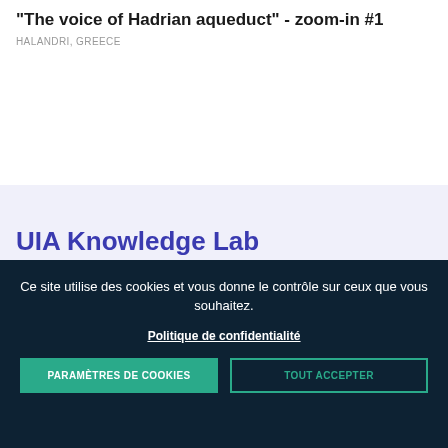"The voice of Hadrian aqueduct" - zoom-in #1
HALANDRI, GREECE
UIA Knowledge Lab
Ce site utilise des cookies et vous donne le contrôle sur ceux que vous souhaitez.
Politique de confidentialité
PARAMÈTRES DE COOKIES
TOUT ACCEPTER